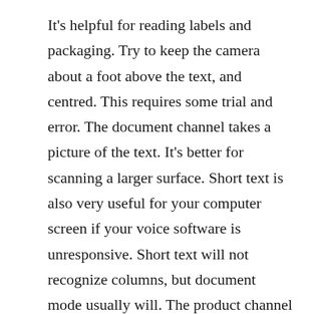It's helpful for reading labels and packaging. Try to keep the camera about a foot above the text, and centred. This requires some trial and error. The document channel takes a picture of the text. It's better for scanning a larger surface. Short text is also very useful for your computer screen if your voice software is unresponsive. Short text will not recognize columns, but document mode usually will. The product channel is for recognizing bar codes. This is a bit challenging because you have to find the bar code first. Jason said that it's possible to learn where the codes typically appear, near the label seem on a can, or on the bottom edge of a cereal box. The person channel tells you when the face is in focus, then you take a picture. You get a response that gives age, gender, physical features, and